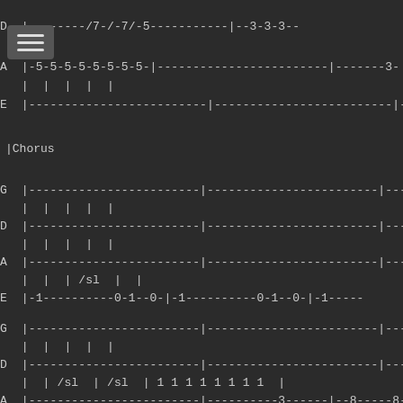D |--------/7-/-7/-5-----------|-3-3-3--
A |-5-5-5-5-5-5-5-5-|-----------------------|-------3-
E |------------------------|------------------------|--------
|Chorus
G |------------------------|------------------------|--------
D |------------------------|------------------------|--------
A |------------------------|------------------------|--------
| | | /sl | |
E |-1----------0-1--0-|-1----------0-1--0-|-1-----
G |------------------------|------------------------|--------
D |------------------------|------------------------|--------
| | /sl | /sl | 1 1 1 1 1 1 1 1 |
A |------------------------|----------3------|--8-----8-
| | | | |